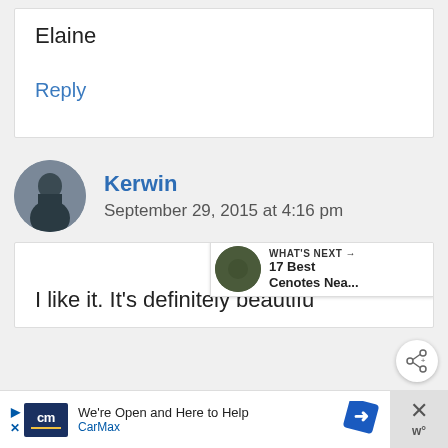Elaine
Reply
Kerwin
September 29, 2015 at 4:16 pm
I like it. It's definitely beautiful
WHAT'S NEXT → 17 Best Cenotes Nea...
We're Open and Here to Help CarMax